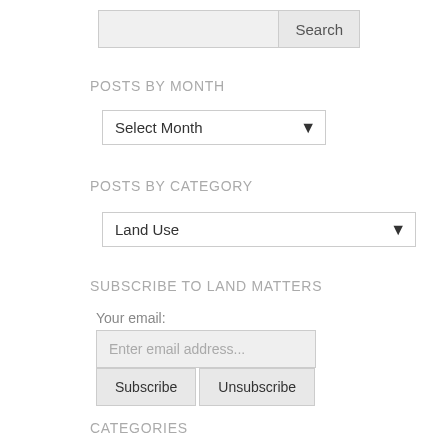[Figure (screenshot): Search bar with text input field and Search button]
POSTS BY MONTH
[Figure (screenshot): Dropdown select box showing 'Select Month']
POSTS BY CATEGORY
[Figure (screenshot): Dropdown select box showing 'Land Use']
SUBSCRIBE TO LAND MATTERS
Your email:
[Figure (screenshot): Email input field with placeholder 'Enter email address...' and Subscribe/Unsubscribe buttons]
CATEGORIES